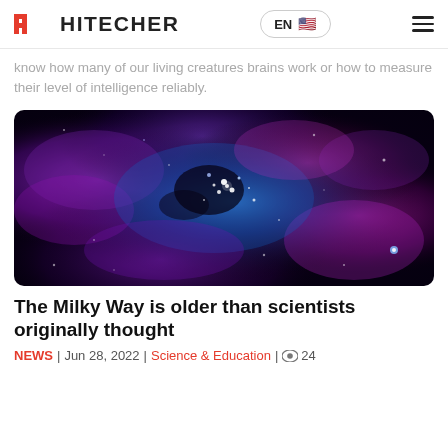HITECHER | EN
know how many of our living creatures brains work or how to measure their level of intelligence reliably.
[Figure (photo): A space nebula image showing vivid purple, blue, and magenta cosmic clouds with bright star clusters against a dark background — representing the Milky Way galaxy.]
The Milky Way is older than scientists originally thought
NEWS | Jun 28, 2022 | Science & Education | 👁 24